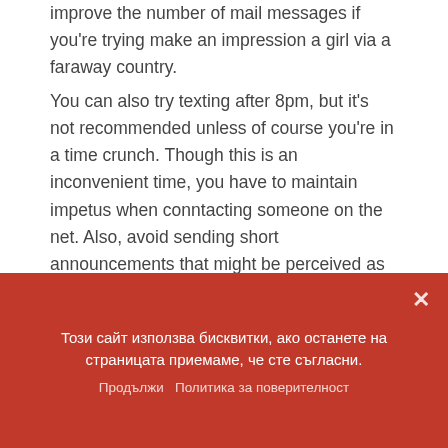improve the number of mail messages if you're trying make an impression a girl via a faraway country.
You can also try texting after 8pm, but it's not recommended unless of course you're in a time crunch. Though this is an inconvenient time, you have to maintain impetus when conntacting someone on the net. Also, avoid sending short announcements that might be perceived as hookup asks for. If you're struggling to respond to someone within an hour, it's preferable to reply precisely the same day.
be irritating. Women like to feel like a person is responding to them, and if you can apply it
Този сайт използва бисквитки, ако останете на страницата приемаме, че сте съгласни.
Продължи   Политика за поверителност